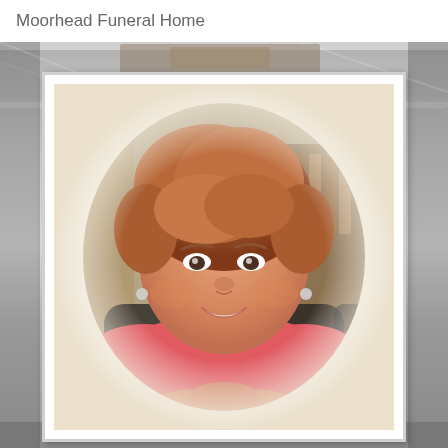Moorhead Funeral Home
[Figure (photo): Portrait photo of a middle-aged woman with short reddish-brown hair, smiling, wearing a pink/coral top, chin resting on her hands, displayed in an oval vignette style within a white picture frame. The frame sits against a decorative silver metallic background.]